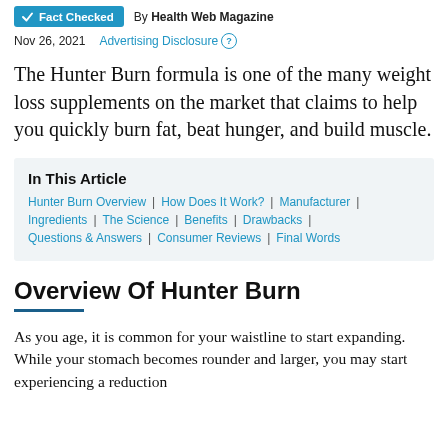Fact Checked | By Health Web Magazine
Nov 26, 2021 | Advertising Disclosure ?
The Hunter Burn formula is one of the many weight loss supplements on the market that claims to help you quickly burn fat, beat hunger, and build muscle.
In This Article
Hunter Burn Overview | How Does It Work? | Manufacturer | Ingredients | The Science | Benefits | Drawbacks | Questions & Answers | Consumer Reviews | Final Words
Overview Of Hunter Burn
As you age, it is common for your waistline to start expanding. While your stomach becomes rounder and larger, you may start experiencing a reduction